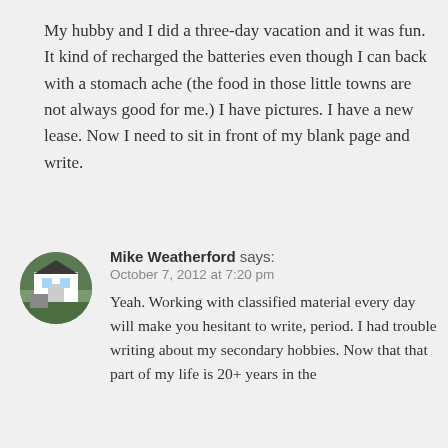My hubby and I did a three-day vacation and it was fun. It kind of recharged the batteries even though I can back with a stomach ache (the food in those little towns are not always good for me.) I have pictures. I have a new lease. Now I need to sit in front of my blank page and write.
[Figure (photo): Circular avatar photo of Mike Weatherford showing a white church building set into a hillside with green trees]
Mike Weatherford says: October 7, 2012 at 7:20 pm Yeah. Working with classified material every day will make you hesitant to write, period. I had trouble writing about my secondary hobbies. Now that that part of my life is 20+ years in the